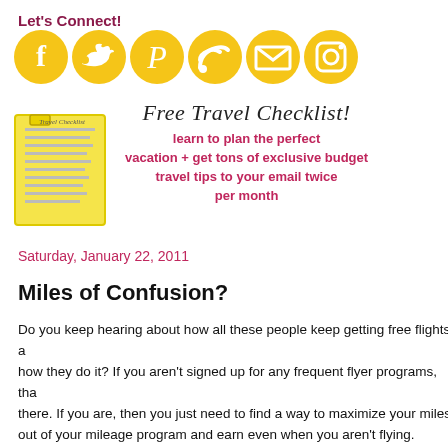Let's Connect!
[Figure (illustration): Six golden circular social media icons: Facebook, Twitter, Pinterest, RSS, Email, Instagram]
[Figure (infographic): Yellow travel checklist notepad image on left; script text 'Free Travel Checklist!' and promotional text on right]
Saturday, January 22, 2011
Miles of Confusion?
Do you keep hearing about how all these people keep getting free flights and how they do it? If you aren't signed up for any frequent flyer programs, that's there. If you are, then you just need to find a way to maximize your miles. out of your mileage program and earn even when you aren't flying. Sounds know how to do it. Accruing miles between trips also helps to keep miles f travel again. This is especially nice if you don't travel all the time and the l on the same airlines, making it hard to keep track of how many miles you h are still good. I like to use a rewards tracking site to keep track of all my p